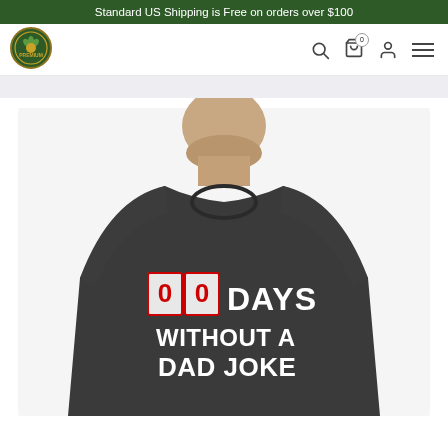Standard US Shipping is Free on orders over $100
[Figure (logo): Circular green and gold Premium logo badge]
[Figure (photo): Man wearing a dark charcoal t-shirt that reads '00 DAYS WITHOUT A DAD JOKE' with red and white text on the shirt graphic]